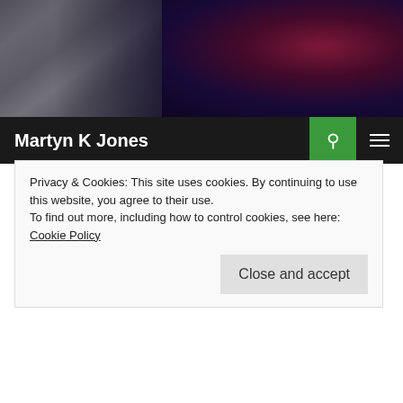[Figure (photo): Banner image showing a man's face on the left side blended with a space/nebula background image on the right]
Martyn K Jones
CERBERUS
HEAD OF THE BEAST COVER NOTES
JANUARY 5, 2013  MARTYN K JONES
Privacy & Cookies: This site uses cookies. By continuing to use this website, you agree to their use.
To find out more, including how to control cookies, see here: Cookie Policy
Close and accept